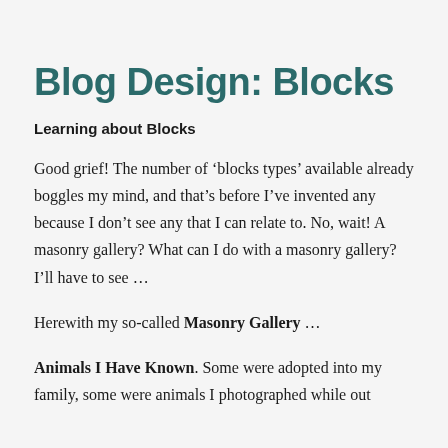Blog Design: Blocks
Learning about Blocks
Good grief! The number of ‘blocks types’ available already boggles my mind, and that’s before I’ve invented any because I don’t see any that I can relate to. No, wait! A masonry gallery? What can I do with a masonry gallery? I’ll have to see …
Herewith my so-called Masonry Gallery …
Animals I Have Known. Some were adopted into my family, some were animals I photographed while out